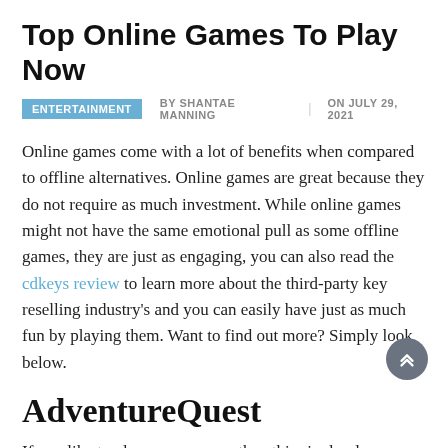Top Online Games To Play Now
ENTERTAINMENT  BY SHANTAE MANNING  |  ON JULY 29, 2021
Online games come with a lot of benefits when compared to offline alternatives. Online games are great because they do not require as much investment. While online games might not have the same emotional pull as some offline games, they are just as engaging, you can also read the cdkeys review to learn more about the third-party key reselling industry's and you can easily have just as much fun by playing them. Want to find out more? Simply look below.
AdventureQuest
If you like to play on your own then this single-player RPG game is for you. 20 years later, this is still a fantastic